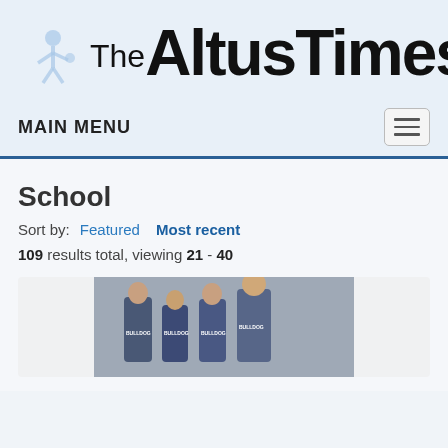[Figure (logo): The Altus Times newspaper logo with light blue mascot/athlete icon on left and bold black text 'The Altus Times']
MAIN MENU
School
Sort by: Featured  Most recent
109 results total, viewing 21 - 40
[Figure (photo): Photo of four people wearing bowling team uniforms with 'Bulldog' text, posing together indoors]